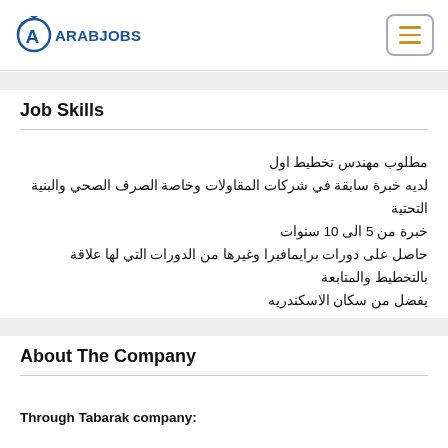ArabJobs
Job Skills
مطلوب مهندس تخطيط اول
لديه خبرة سابقة في شركات المقاولات وخاصة الصرف الصحي والبنية التحتية
خبرة من 5 الى 10 سنوات
حاصل على دورات برايمافيرا وغيرها من الدورات التي لها علاقة بالتخطيط والمتابعة
يفضل من سكان الاسكندريه
About The Company
Through Tabarak company: